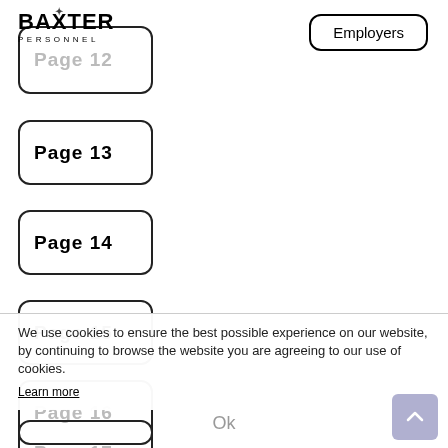[Figure (logo): Baxter Personnel logo with star icon in X]
Employers
Page 12
Page 13
Page 14
Page 15
We use cookies to ensure the best possible experience on our website, by continuing to browse the website you are agreeing to our use of cookies.
Page 16
Learn more
Ok
Page 17